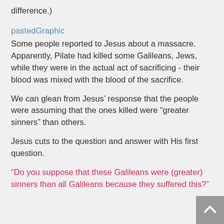difference.)
pastedGraphic
Some people reported to Jesus about a massacre. Apparently, Pilate had killed some Galileans, Jews, while they were in the actual act of sacrificing - their blood was mixed with the blood of the sacrifice.
We can glean from Jesus’ response that the people were assuming that the ones killed were “greater sinners” than others.
Jesus cuts to the question and answer with His first question.
“Do you suppose that these Galileans were (greater) sinners than all Galileans because they suffered this?”